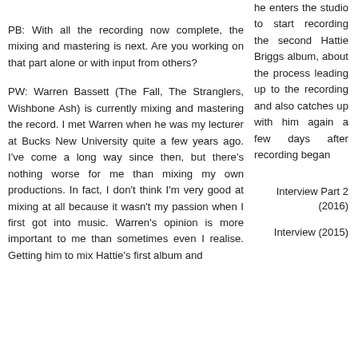PB: With all the recording now complete, the mixing and mastering is next. Are you working on that part alone or with input from others?
PW: Warren Bassett (The Fall, The Stranglers, Wishbone Ash) is currently mixing and mastering the record. I met Warren when he was my lecturer at Bucks New University quite a few years ago. I've come a long way since then, but there's nothing worse for me than mixing my own productions. In fact, I don't think I'm very good at mixing at all because it wasn't my passion when I first got into music. Warren's opinion is more important to me than sometimes even I realise. Getting him to mix Hattie's first album and
he enters the studio to start recording the second Hattie Briggs album, about the process leading up to the recording and also catches up with him again a few days after recording began
Interview Part 2 (2016)
Interview (2015)